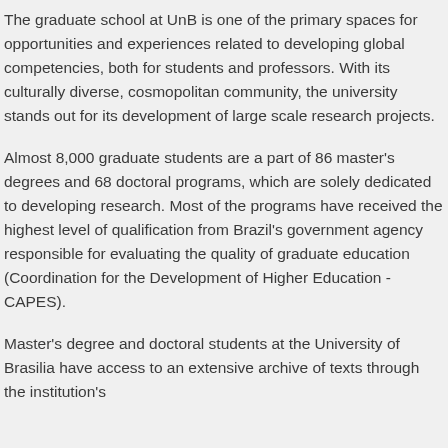The graduate school at UnB is one of the primary spaces for opportunities and experiences related to developing global competencies, both for students and professors. With its culturally diverse, cosmopolitan community, the university stands out for its development of large scale research projects.
Almost 8,000 graduate students are a part of 86 master's degrees and 68 doctoral programs, which are solely dedicated to developing research. Most of the programs have received the highest level of qualification from Brazil's government agency responsible for evaluating the quality of graduate education (Coordination for the Development of Higher Education - CAPES).
Master's degree and doctoral students at the University of Brasilia have access to an extensive archive of texts through the institution's